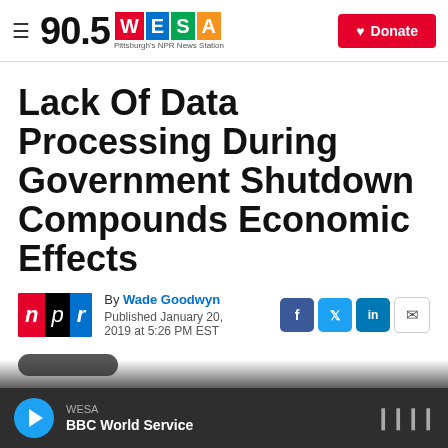90.5 WESA — Pittsburgh's NPR News Station | Donate
Lack Of Data Processing During Government Shutdown Compounds Economic Effects
By Wade Goodwyn
Published January 20, 2019 at 5:26 PM EST
WESA
BBC World Service